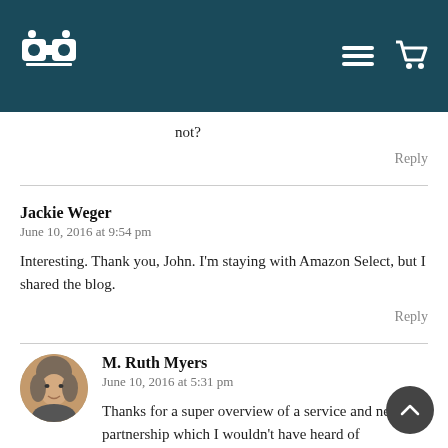[Figure (screenshot): Website navigation header bar with dark teal background, showing a logo (binoculars/book icon) on the left and hamburger menu and shopping cart icons on the right]
not?
Reply
Jackie Weger
June 10, 2016 at 9:54 pm
Interesting. Thank you, John. I'm staying with Amazon Select, but I shared the blog.
Reply
M. Ruth Myers
June 10, 2016 at 5:31 pm
Thanks for a super overview of a service and new partnership which I wouldn't have heard of